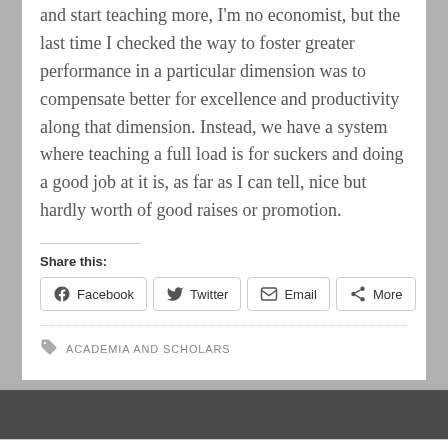and start teaching more, I'm no economist, but the last time I checked the way to foster greater performance in a particular dimension was to compensate better for excellence and productivity along that dimension. Instead, we have a system where teaching a full load is for suckers and doing a good job at it is, as far as I can tell, nice but hardly worth of good raises or promotion.
Share this:
Facebook | Twitter | Email | More
ACADEMIA AND SCHOLARS